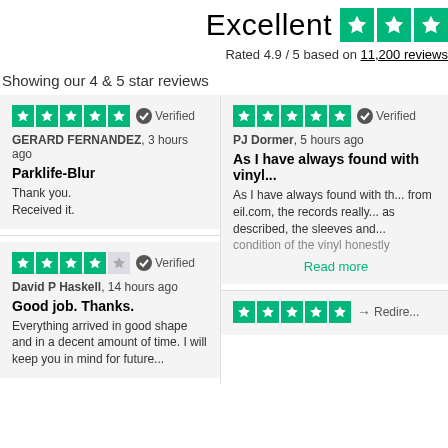Excellent ★★★★
Rated 4.9 / 5 based on 11,200 reviews
Showing our 4 & 5 star reviews
★★★★★ Verified
GERARD FERNANDEZ, 3 hours ago
Parklife-Blur
Thank you.
Received it.
★★★★★ Verified
PJ Dormer, 5 hours ago
As I have always found with vinyl...
As I have always found with th... from eil.com, the records really... as described, the sleeves and ... condition of the vinyl honestly ...
Read more
★★★★☆ Verified
David P Haskell, 14 hours ago
Good job. Thanks.
Everything arrived in good shape and in a decent amount of time. I will keep you in mind for future...
★★★★★ → Redire...